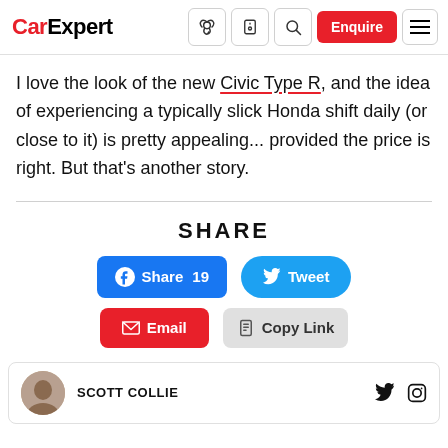CarExpert — navigation header with icons and Enquire button
I love the look of the new Civic Type R, and the idea of experiencing a typically slick Honda shift daily (or close to it) is pretty appealing... provided the price is right. But that's another story.
SHARE
Share 19 | Tweet | Email | Copy Link
SCOTT COLLIE